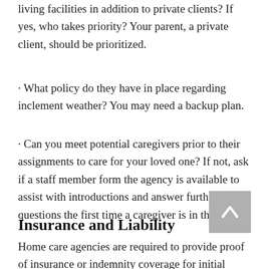living facilities in addition to private clients? If yes, who takes priority? Your parent, a private client, should be prioritized.
· What policy do they have in place regarding inclement weather? You may need a backup plan.
· Can you meet potential caregivers prior to their assignments to care for your loved one? If not, ask if a staff member form the agency is available to assist with introductions and answer further questions the first time a caregiver is in the home.
Insurance and Liability
Home care agencies are required to provide proof of insurance or indemnity coverage for initial licensure. Insurance